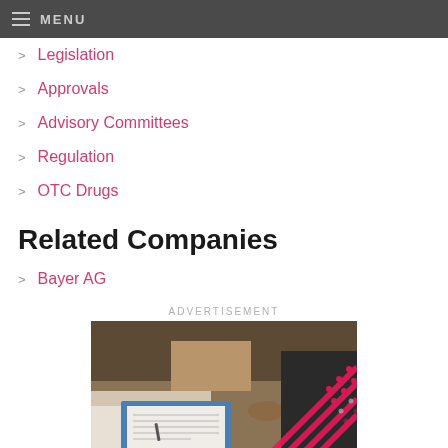MENU
Legislation
Approvals
Advisory Committees
Regulation
OTC Drugs
Related Companies
Bayer AG
ADVERTISEMENT
[Figure (photo): A doctor or medical professional writing on a clipboard, with a patient sitting nearby. Pink decorative diagonal stripe overlay in the lower right corner.]